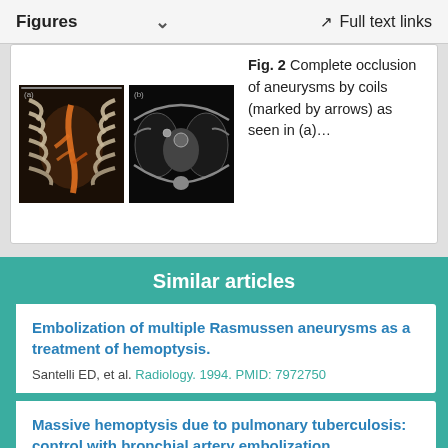Figures   ∨   Full text links
[Figure (photo): Two medical CT scan images side by side: left shows a 3D rendering of chest/ribs with an orange/yellow highlighted vascular structure, right shows an axial CT scan of the chest with visible heart and lung structures.]
Fig. 2 Complete occlusion of aneurysms by coils (marked by arrows) as seen in (a)…
Similar articles
Embolization of multiple Rasmussen aneurysms as a treatment of hemoptysis.
Santelli ED, et al. Radiology. 1994. PMID: 7972750
Massive hemoptysis due to pulmonary tuberculosis: control with bronchial artery embolization.